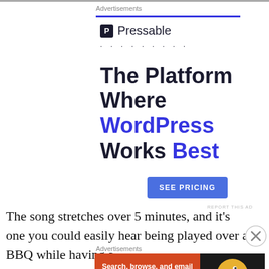Advertisements
[Figure (infographic): Pressable advertisement: logo with P icon and 'Pressable' name, dots separator, headline 'The Platform Where WordPress Works Best', blue 'SEE PRICING' button, and 'REPORT THIS AD' link]
The song stretches over 5 minutes, and it's one you could easily hear being played over a BBQ while having a
Advertisements
[Figure (infographic): DuckDuckGo advertisement banner: orange background on left with text 'Search, browse, and email with more privacy. All in One Free App', dark right panel with DuckDuckGo logo and duck icon]